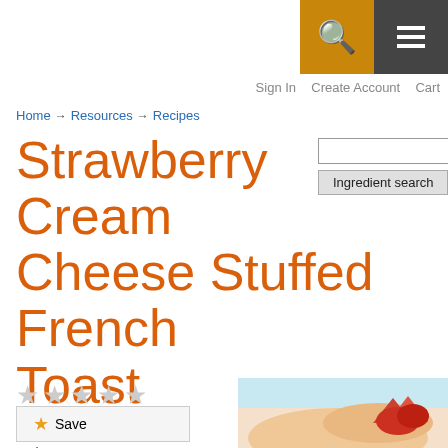Search button | Menu button
Sign In  Create Account  Cart
Home → Resources → Recipes
Strawberry Cream Cheese Stuffed French Toast
Ingredient search [input field] [?]
(unrated) Log in to rate this recipe!
Save
[Figure (photo): Strawberry Cream Cheese Stuffed French Toast dish photo with strawberries on top]